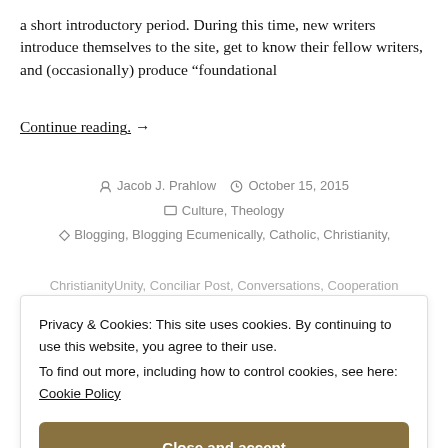a short introductory period. During this time, new writers introduce themselves to the site, get to know their fellow writers, and (occasionally) produce “foundational
Continue reading. →
Jacob J. Prahlow  October 15, 2015  Culture, Theology  Blogging, Blogging Ecumenically, Catholic, Christianity, ChristianityUnity, Conciliar Post, Conversations, Cooperation
Privacy & Cookies: This site uses cookies. By continuing to use this website, you agree to their use.
To find out more, including how to control cookies, see here: Cookie Policy
Close and accept